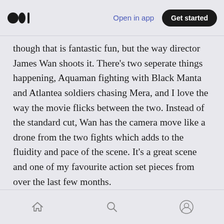Open in app | Get started
though that is fantastic fun, but the way director James Wan shoots it. There’s two seperate things happening, Aquaman fighting with Black Manta and Atlantea soldiers chasing Mera, and I love the way the movie flicks between the two. Instead of the standard cut, Wan has the camera move like a drone from the two fights which adds to the fluidity and pace of the scene. It’s a great scene and one of my favourite action set pieces from over the last few months.
I mentioned Mera in there and I have to talk
Home | Search | Profile